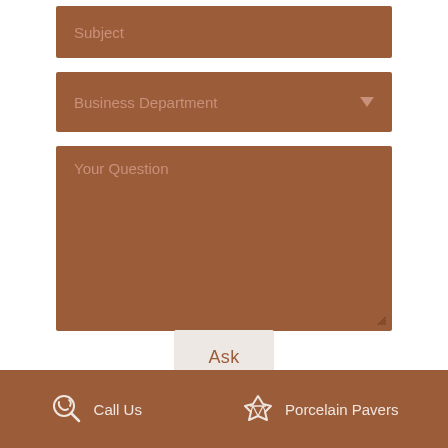Subject
Business Department
Your Question
Ask
Call Us   Porcelain Pavers